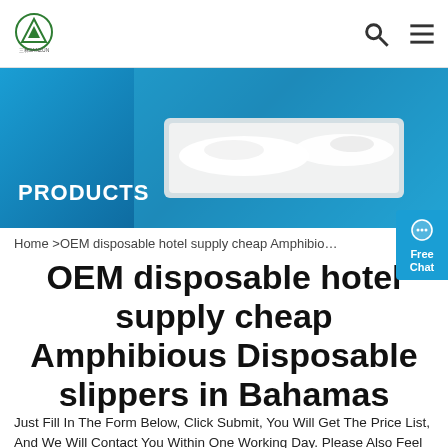SANZUN logo with search and menu icons
[Figure (photo): Banner image showing white disposable hotel slippers on a blue background with the label PRODUCTS]
Home >OEM disposable hotel supply cheap Amphibio...
OEM disposable hotel supply cheap Amphibious Disposable slippers in Bahamas
Just Fill In The Form Below, Click Submit, You Will Get The Price List, And We Will Contact You Within One Working Day. Please Also Feel Free To Contact Us Via Email Or Phone. (* Is Required)